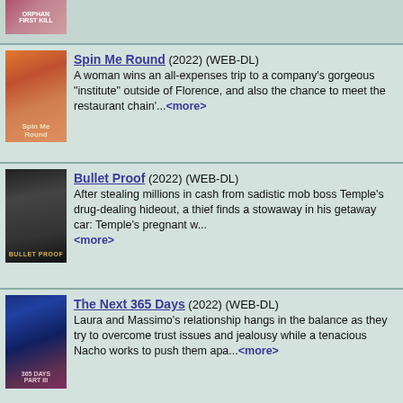[Figure (photo): Orphan movie poster (partially visible, top crop)]
Spin Me Round (2022) (WEB-DL) - A woman wins an all-expenses trip to a company's gorgeous "institute" outside of Florence, and also the chance to meet the restaurant chain'...<more>
Bullet Proof (2022) (WEB-DL) - After stealing millions in cash from sadistic mob boss Temple's drug-dealing hideout, a thief finds a stowaway in his getaway car: Temple's pregnant w...<more>
The Next 365 Days (2022) (WEB-DL) - Laura and Massimo's relationship hangs in the balance as they try to overcome trust issues and jealousy while a tenacious Nacho works to push them apa...<more>
Inside the Mind of a Cat (2022) (WEBRip) - Cat experts dive into the mind of the feline to re...